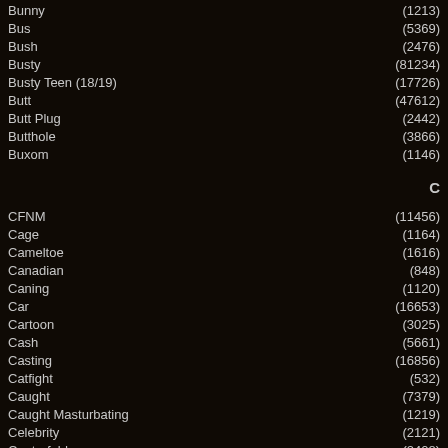Bunny (1213)
Bus (5369)
Bush (2476)
Busty (81234)
Busty Teen (18/19) (17726)
Butt (47612)
Butt Plug (2442)
Butthole (3866)
Buxom (1146)
C
CFNM (11456)
Cage (1164)
Cameltoe (1616)
Canadian (848)
Caning (1120)
Car (16653)
Cartoon (3025)
Cash (5661)
Casting (16856)
Catfight (532)
Caught (7379)
Caught Masturbating (1219)
Celebrity (2121)
Centerfold (2408)
Chained (866)
Cheating (6836)
Cheerleader (2209)
Chinese (1554)
Chubby (17338)
Chubby Teen (18/19) (2082)